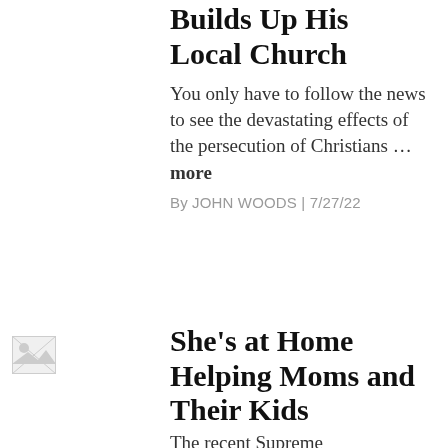Builds Up His Local Church
You only have to follow the news to see the devastating effects of the persecution of Christians … more
By JOHN WOODS | 7/27/22
[Figure (photo): Small broken image thumbnail placeholder]
She's at Home Helping Moms and Their Kids
The recent Supreme